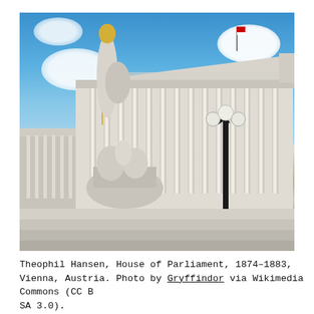[Figure (photo): Photograph of Theophil Hansen's House of Parliament in Vienna, Austria (1874–1883). The neoclassical building features a large columned facade with a triangular pediment, decorative friezes and statues along the roofline, and a prominent Athena fountain statue in the foreground with a gilded helmet and spear. A Victorian-style lamp post stands to the right. Steps lead up to the building entrance. The sky is blue with white clouds.]
Theophil Hansen, House of Parliament, 1874–1883, Vienna, Austria. Photo by Gryffindor via Wikimedia Commons (CC BY-SA 3.0).